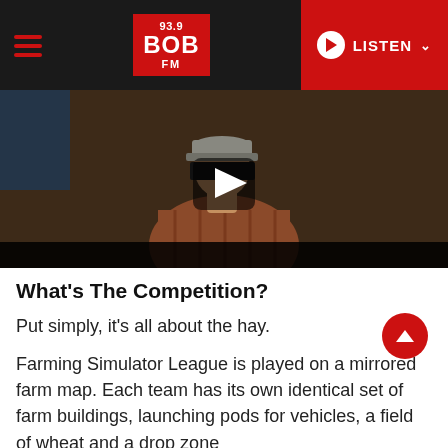93.9 BOB FM — LISTEN
[Figure (photo): Video thumbnail showing a person wearing a cap and plaid shirt with a black play button overlay on a dark background]
What's The Competition?
Put simply, it's all about the hay.
Farming Simulator League is played on a mirrored farm map. Each team has its own identical set of farm buildings, launching pods for vehicles, a field of wheat and a drop zone